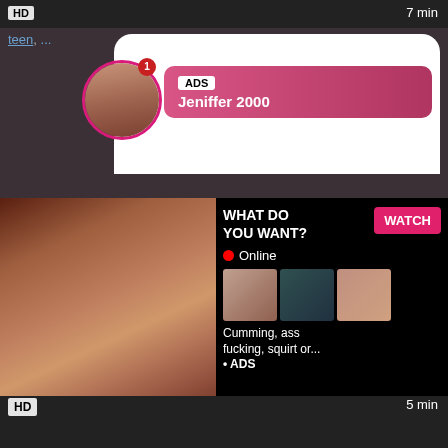HD
7 min
teen,
[Figure (photo): Adult content advertisement overlay showing profile photo and ad banner for 'Jeniffer 2000' with ADS label, gradient pink background, and online status with Watch button]
[Figure (photo): Adult video thumbnail on left side, and ad panel on right with text 'WHAT DO YOU WANT?', WATCH button, Online status, three mini thumbnails, and text 'Cumming, ass fucking, squirt or... • ADS']
HD
5 min
Roundass Slut Anal Ass Gaping
anal, ass, gaping, butt, butts, masturbation, buttplug, bo...